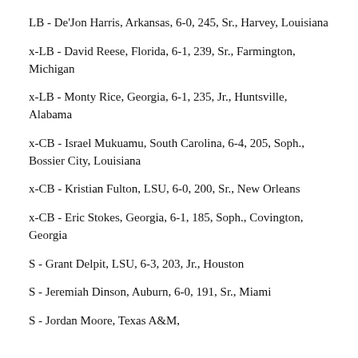LB - De'Jon Harris, Arkansas, 6-0, 245, Sr., Harvey, Louisiana
x-LB - David Reese, Florida, 6-1, 239, Sr., Farmington, Michigan
x-LB - Monty Rice, Georgia, 6-1, 235, Jr., Huntsville, Alabama
x-CB - Israel Mukuamu, South Carolina, 6-4, 205, Soph., Bossier City, Louisiana
x-CB - Kristian Fulton, LSU, 6-0, 200, Sr., New Orleans
x-CB - Eric Stokes, Georgia, 6-1, 185, Soph., Covington, Georgia
S - Grant Delpit, LSU, 6-3, 203, Jr., Houston
S - Jeremiah Dinson, Auburn, 6-0, 191, Sr., Miami
S - Jordan Moore, Texas A&M, ...